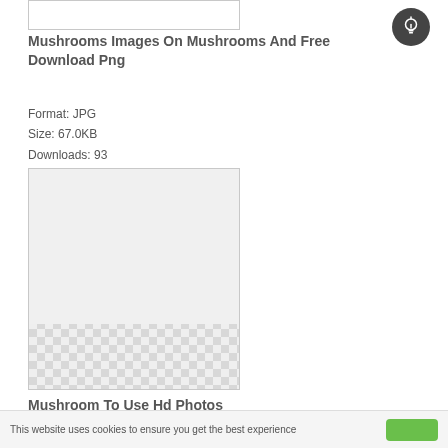[Figure (other): Cropped top portion of an image box with gray border]
[Figure (other): Dark circular icon with a lightbulb symbol]
Mushrooms Images On Mushrooms And Free Download Png
Format: JPG
Size: 67.0KB
Downloads: 93
[Figure (other): Image placeholder box showing checkerboard transparency pattern in lower portion, light gray fill in upper portion]
Mushroom To Use Hd Photos
Format: PNG
Size: 22.7KB
This website uses cookies to ensure you get the best experience